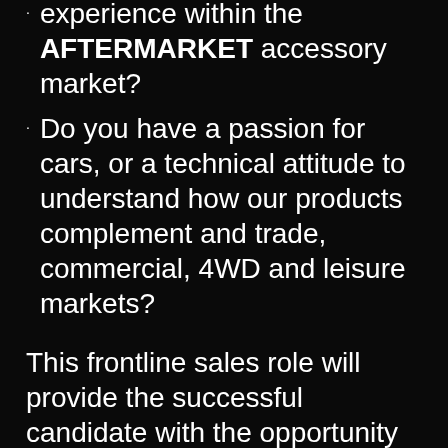experience within the AFTERMARKET accessory market?
Do you have a passion for cars, or a technical attitude to understand how our products complement and trade, commercial, 4WD and leisure markets?
This frontline sales role will provide the successful candidate with the opportunity to join one of Australia's leading brand names in the Auto Accessory Market.
General responsibilities include: